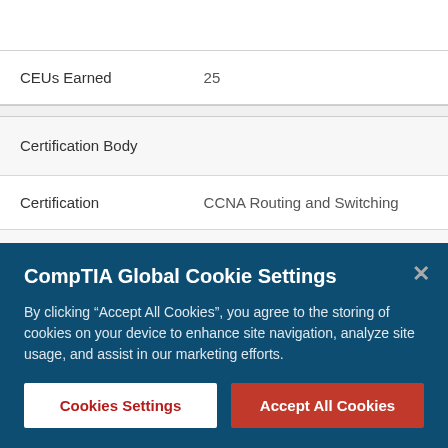| CEUs Earned | 25 |
| Certification Body |  |
| Certification | CCNA Routing and Switching |
| CEUs Earned | 25 |
CompTIA Global Cookie Settings
By clicking “Accept All Cookies”, you agree to the storing of cookies on your device to enhance site navigation, analyze site usage, and assist in our marketing efforts.
Cookies Settings
Accept All Cookies